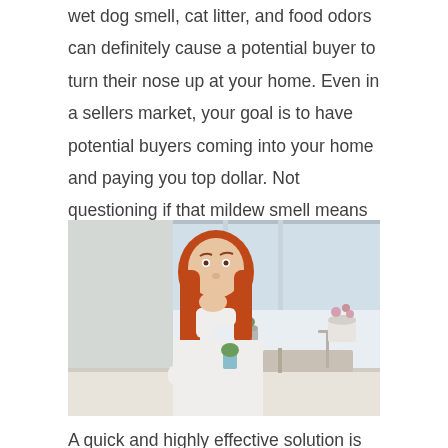wet dog smell, cat litter, and food odors can definitely cause a potential buyer to turn their nose up at your home. Even in a sellers market, your goal is to have potential buyers coming into your home and paying you top dollar. Not questioning if that mildew smell means problems or leaks in the home.
[Figure (photo): Woman with red hair in a white blouse standing at a kitchen counter, covering her nose with her hand as if reacting to a bad smell. Kitchen background with window, sink, and potted plants visible.]
A quick and highly effective solution is to upgrade your